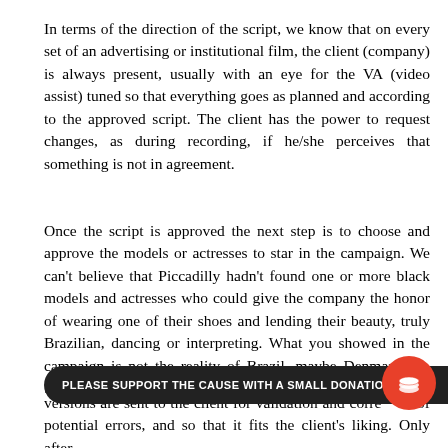In terms of the direction of the script, we know that on every set of an advertising or institutional film, the client (company) is always present, usually with an eye for the VA (video assist) tuned so that everything goes as planned and according to the approved script. The client has the power to request changes, as during recording, if he/she perceives that something is not in agreement.
Once the script is approved the next step is to choose and approve the models or actresses to star in the campaign. We can't believe that Piccadilly hadn't found one or more black models and actresses who could give the company the honor of wearing one of their shoes and lending their beauty, truly Brazilian, dancing or interpreting. What you showed in the campaign is not the reality of Brazil, maybe Denmark (1), Switzerland, Sweden, the Netherlands or Russia.
versions are sent to the client for validation and correction of potential errors, and so that it fits the client's liking. Only after